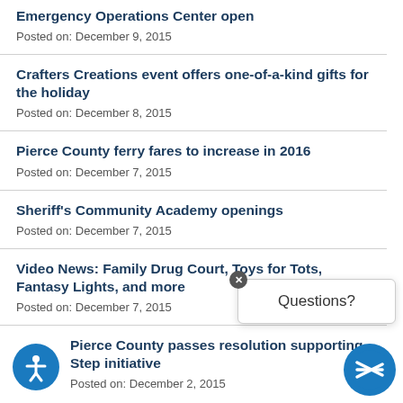Emergency Operations Center open
Posted on: December 9, 2015
Crafters Creations event offers one-of-a-kind gifts for the holiday
Posted on: December 8, 2015
Pierce County ferry fares to increase in 2016
Posted on: December 7, 2015
Sheriff's Community Academy openings
Posted on: December 7, 2015
Video News: Family Drug Court, Toys for Tots, Fantasy Lights, and more
Posted on: December 7, 2015
Pierce County passes resolution supporting Step initiative
Posted on: December 2, 2015